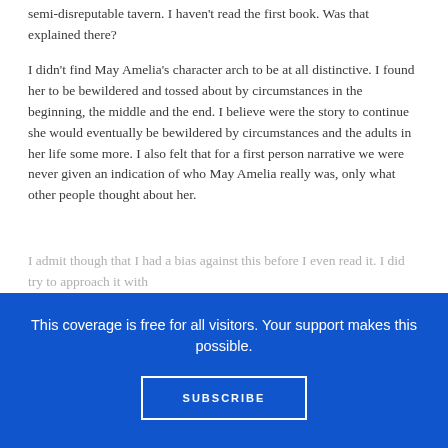semi-disreputable tavern. I haven't read the first book. Was that explained there?
I didn't find May Amelia's character arch to be at all distinctive. I found her to be bewildered and tossed about by circumstances in the beginning, the middle and the end. I believe were the story to continue she would eventually be bewildered by circumstances and the adults in her life some more. I also felt that for a first person narrative we were never given an indication of who May Amelia really was, only what other people thought about her.
I admit though that I had a bias against this before I even read it. I did try to approach it with
This coverage is free for all visitors. Your support makes this possible.
SUBSCRIBE